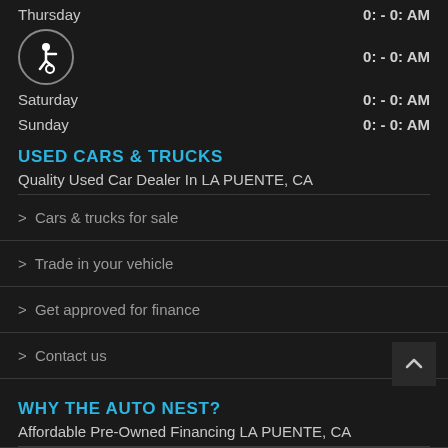Thursday  0: - 0: AM
[Figure (illustration): Wheelchair accessibility icon — white figure in wheelchair on dark circular border]
0: - 0: AM
Saturday  0: - 0: AM
Sunday  0: - 0: AM
USED CARS & TRUCKS
Quality Used Car Dealer In LA PUENTE, CA
> Cars & trucks for sale
> Trade in your vehicle
> Get approved for finance
> Contact us
WHY THE AUTO NEST?
Affordable Pre-Owned Financing LA PUENTE, CA
BAD CREDIT, NO CREDIT, or STRAPPED ON CASH FOR MONEY